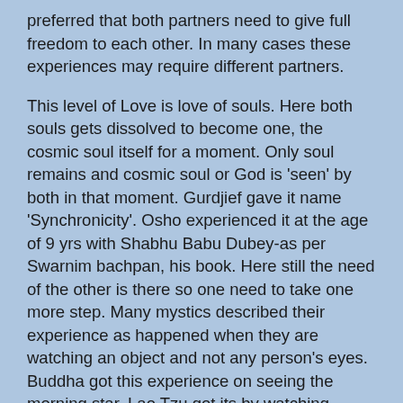preferred that both partners need to give full freedom to each other. In many cases these experiences may require different partners.
This level of Love is love of souls. Here both souls gets dissolved to become one, the cosmic soul itself for a moment. Only soul remains and cosmic soul or God is 'seen' by both in that moment. Gurdjief gave it name 'Synchronicity'. Osho experienced it at the age of 9 yrs with Shabhu Babu Dubey-as per Swarnim bachpan, his book. Here still the need of the other is there so one need to take one more step. Many mystics described their experience as happened when they are watching an object and not any person's eyes. Buddha got this experience on seeing the morning star. Lao Tzu got its by watching falling of a leaf from tree. In such cases they cannot be said as trading path of Tantra journey. So after this stage all journeys gets merged it seems.